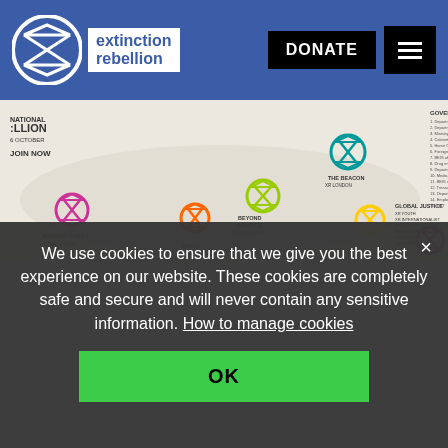[Figure (logo): Extinction Rebellion logo with hourglass circle icon and text 'extinction rebellion' on blue header background with DONATE button and hamburger menu]
[Figure (infographic): Extinction Rebellion National Rebellion map/infographic showing locations including Burning Earth, Peace, Beyond Politics, The Beacon, Global Justice, and Government Locations]
We use cookies to ensure that we give you the best experience on our website. These cookies are completely safe and secure and will never contain any sensitive information. How to manage cookies
OK